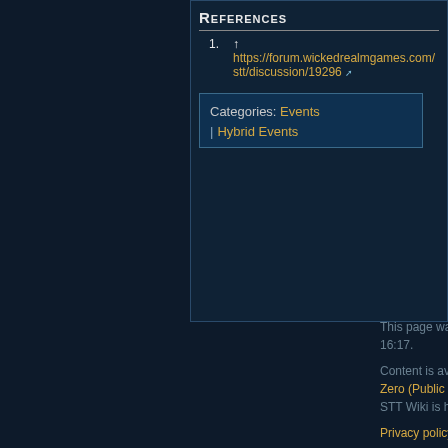References
1. ↑ https://forum.wickedrealmgames.com/stt/discussion/19296
Categories: Events | Hybrid Events
This page was last edited on 28 May 2022, at 16:17. Content is available under Creative Commons Zero (Public Domain) unless otherwise noted. STT Wiki is hosted as an STT Core project. Privacy policy About Star Trek Timelines Disclaimers